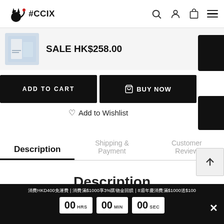#CCIX
SALE HK$258.00
ADD TO CART
BUY NOW
♡ Add to Wishlist
Description
Shipping & Payment
Customer Review
Description
消費HKD400免運費 | 消費滿$1000享3%購物金回饋 | 8週年慶消費滿$1000送$100
00 HRS  00 MIN  00 SEC